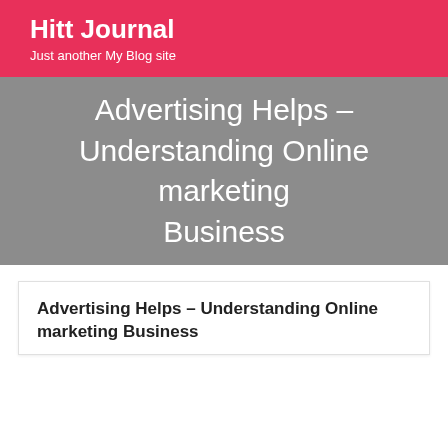Hitt Journal
Just another My Blog site
Advertising Helps – Understanding Online marketing Business
Advertising Helps – Understanding Online marketing Business